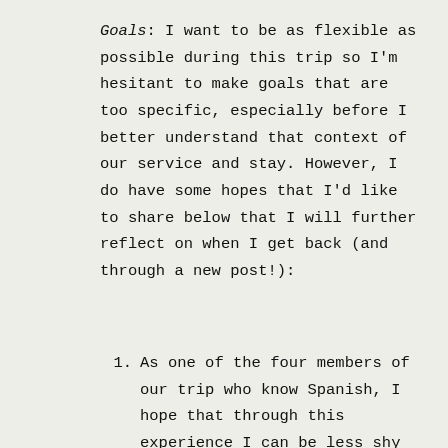Goals: I want to be as flexible as possible during this trip so I'm hesitant to make goals that are too specific, especially before I better understand that context of our service and stay. However, I do have some hopes that I'd like to share below that I will further reflect on when I get back (and through a new post!):
As one of the four members of our trip who know Spanish, I hope that through this experience I can be less shy...